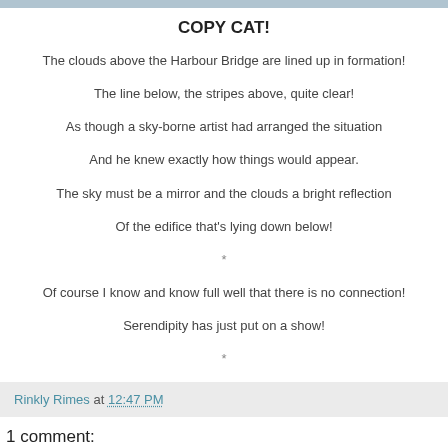[Figure (photo): Top image strip showing partial photograph]
COPY CAT!
The clouds above the Harbour Bridge are lined up in formation!
The line below, the stripes above, quite clear!
As though a sky-borne artist had arranged the situation
And he knew exactly how things would appear.
The sky must be a mirror and the clouds a bright reflection
Of the edifice that's lying down below!
*
Of course I know and know full well that there is no connection!
Serendipity has just put on a show!
*
Rinkly Rimes at 12:47 PM
1 comment: